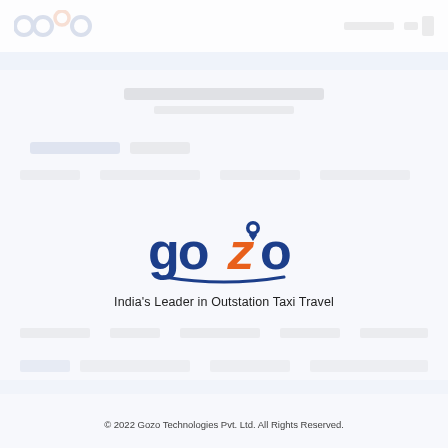[Figure (logo): Gozo logo with blue 'go' text, orange 'z' with location pin, blue 'o' text and a blue swoosh underneath]
India's Leader in Outstation Taxi Travel
© 2022 Gozo Technologies Pvt. Ltd. All Rights Reserved.